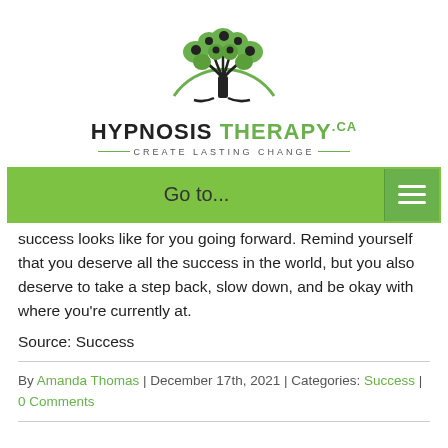[Figure (logo): Hypnosis Therapy CA logo with a tree graphic and the text HYPNOSIS THERAPY.ca and tagline Create Lasting Change]
[Figure (screenshot): Green navigation bar with 'Go to...' label and hamburger menu icon]
success looks like for you going forward. Remind yourself that you deserve all the success in the world, but you also deserve to take a step back, slow down, and be okay with where you're currently at.
Source: Success
By Amanda Thomas | December 17th, 2021 | Categories: Success | 0 Comments